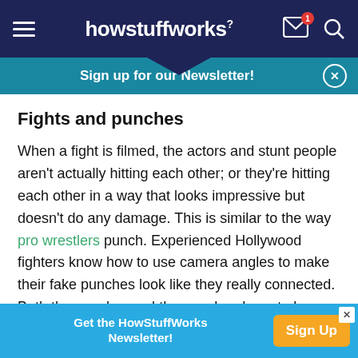howstuffworks
Sign up for our Newsletter!
Fights and punches
When a fight is filmed, the actors and stunt people aren't actually hitting each other; or they're hitting each other in a way that looks impressive but doesn't do any damage. This is similar to the way pro wrestlers punch. Experienced Hollywood fighters know how to use camera angles to make their fake punches look like they really connected. Both the puncher and the punchee have to know
Get the HowStuffWorks Newsletter! Sign Up